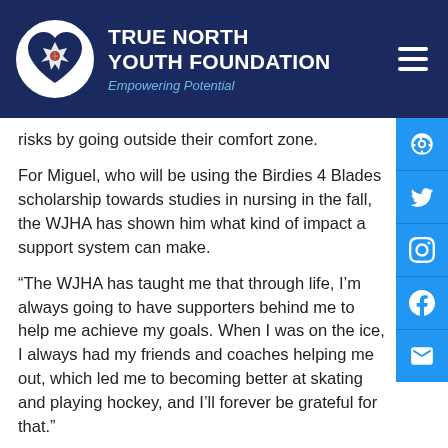TRUE NORTH YOUTH FOUNDATION — Empowering Potential
risks by going outside their comfort zone.
For Miguel, who will be using the Birdies 4 Blades scholarship towards studies in nursing in the fall, the WJHA has shown him what kind of impact a support system can make.
“The WJHA has taught me that through life, I’m always going to have supporters behind me to help me achieve my goals. When I was on the ice, I always had my friends and coaches helping me out, which led me to becoming better at skating and playing hockey, and I’ll forever be grateful for that.”
No doubt that positive experience of feeling supported will only make Miguel more valuable as